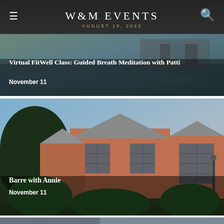W&M EVENTS
AUGUST 18, 2022
[Figure (photo): Event card background for Virtual FitWell Class with water reflection and building]
Virtual FitWell Class: Guided Breath Meditation with Patti
November 11
[Figure (photo): Brick building with peaked roofs and large windows on a college campus, surrounded by trees]
Barre with Annie
November 11
[Figure (photo): Partial view of a third event card at bottom of page]